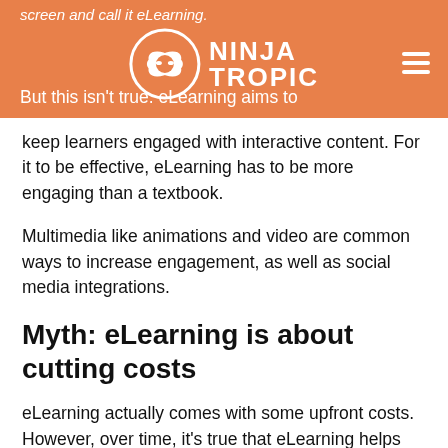screen and call it eLearning.
But this isn't true. eLearning aims to keep learners engaged with interactive content. For it to be effective, eLearning has to be more engaging than a textbook.
Multimedia like animations and video are common ways to increase engagement, as well as social media integrations.
Myth: eLearning is about cutting costs
eLearning actually comes with some upfront costs. However, over time, it's true that eLearning helps companies save money. You no longer have to worry